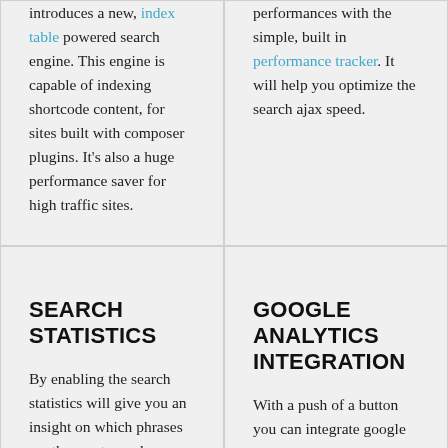introduces a new, index table powered search engine. This engine is capable of indexing shortcode content, for sites built with composer plugins. It's also a huge performance saver for high traffic sites.
performances with the simple, built in performance tracker. It will help you optimize the search ajax speed.
SEARCH STATISTICS
By enabling the search statistics will give you an insight on which phrases are the most popular on your website.
GOOGLE ANALYTICS INTEGRATION
With a push of a button you can integrate google analytics to the search, so the phrases will show up as pageviews on